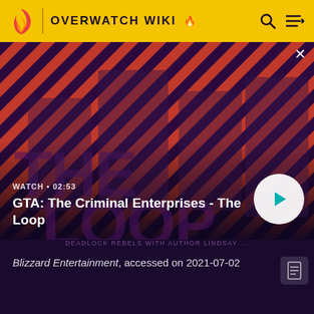OVERWATCH WIKI
[Figure (screenshot): Video thumbnail for GTA: The Criminal Enterprises - The Loop. Shows four game characters on a diagonal red and black striped background. Text overlay shows WATCH • 02:53. Large THE LOOP logo partially visible in background.]
GTA: The Criminal Enterprises - The Loop
DEADLOCK REBELS WITH AUTHOR LINDSAY ...
Blizzard Entertainment, accessed on 2021-07-02